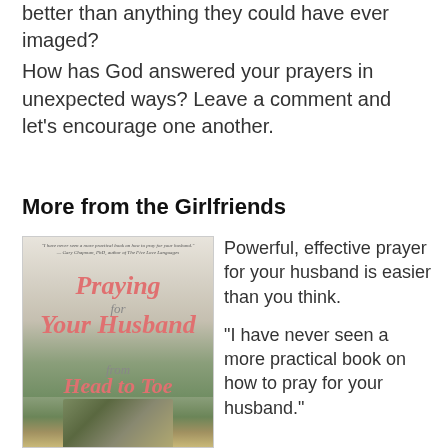better than anything they could have ever imaged?
How has God answered your prayers in unexpected ways? Leave a comment and let's encourage one another.
More from the Girlfriends
[Figure (photo): Book cover of 'Praying for Your Husband from Head to Toe — A Daily Guide to Scripture-Based Prayer' with a photo of a couple sitting together in a field]
Powerful, effective prayer for your husband is easier than you think.
“I have never seen a more practical book on how to pray for your husband.”